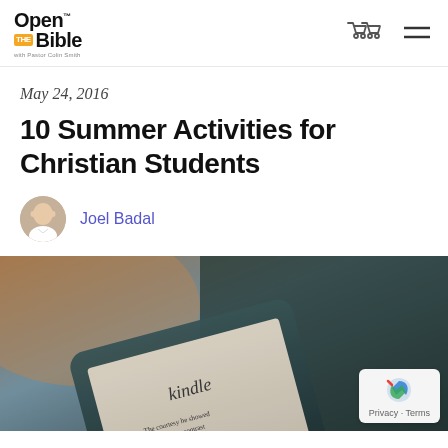Open the Bible with Pastor Colin Smith
May 24, 2016
10 Summer Activities for Christian Students
Joel Badal
[Figure (photo): Close-up photo of a Kindle e-reader device displaying text, with blurred background]